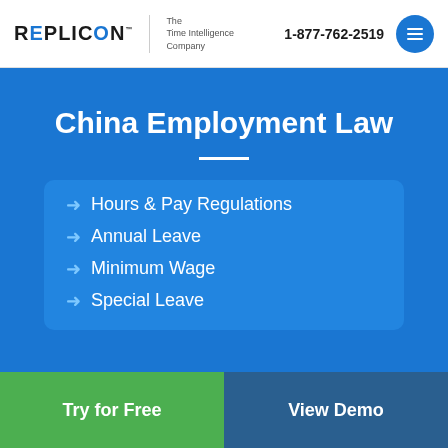REPLICON — The Time Intelligence Company | 1-877-762-2519
China Employment Law
Hours & Pay Regulations
Annual Leave
Minimum Wage
Special Leave
Try for Free
View Demo